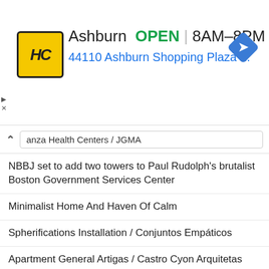[Figure (infographic): Advertisement banner for HC (Health Centers) in Ashburn showing logo, OPEN status, hours 8AM-8PM, address 44110 Ashburn Shopping Plaza 1., and navigation arrow icon]
anza Health Centers / JGMA
NBBJ set to add two towers to Paul Rudolph's brutalist Boston Government Services Center
Minimalist Home And Haven Of Calm
Spherifications Installation / Conjuntos Empáticos
Apartment General Artigas / Castro Cyon Arquitetas
ryuji yamashita divides a building into two for its 'garage house' in hokkaido, japan
Nets and hammocks provide alternative seating at Alpine house by Dunkelschwarz
sweeping arches + decks of wood-laminate form i/thee's stage at site of woodstock festival